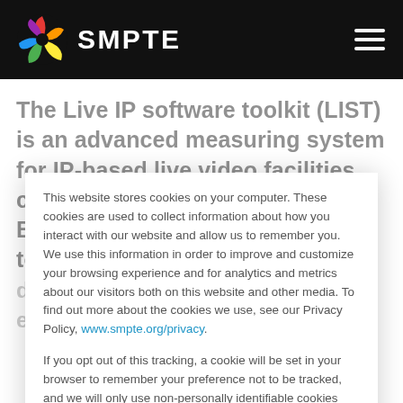SMPTE (logo and navigation bar)
The Live IP software toolkit (LIST) is an advanced measuring system for IP-based live video facilities, created by the European Broadcasting Union (EBU). The toolkit is able to decode network streams and evaluate the network. This
This website stores cookies on your computer. These cookies are used to collect information about how you interact with our website and allow us to remember you. We use this information in order to improve and customize your browsing experience and for analytics and metrics about our visitors both on this website and other media. To find out more about the cookies we use, see our Privacy Policy, www.smpte.org/privacy.
If you opt out of this tracking, a cookie will be set in your browser to remember your preference not to be tracked, and we will only use non-personally identifiable cookies strictly necessary for your SMPTE site experience.
Accept
Decline